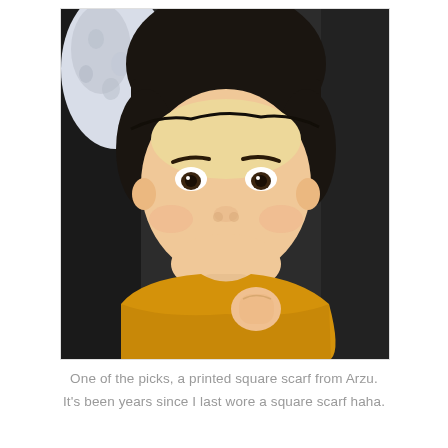[Figure (photo): A young toddler child with a bowl-cut dark hair, wearing a yellow top, looking at the camera with a slight smirk. An adult in a dark top is holding the child. In the background there is a white floral-patterned scarf/fabric visible.]
One of the picks, a printed square scarf from Arzu. It's been years since I last wore a square scarf haha.